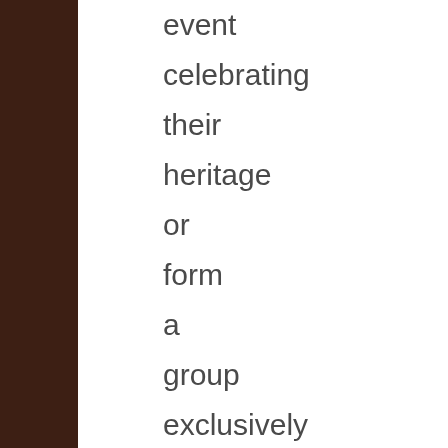event celebrating their heritage or form a group exclusively for those within that minority group, there seems to be a wilful ignorance and